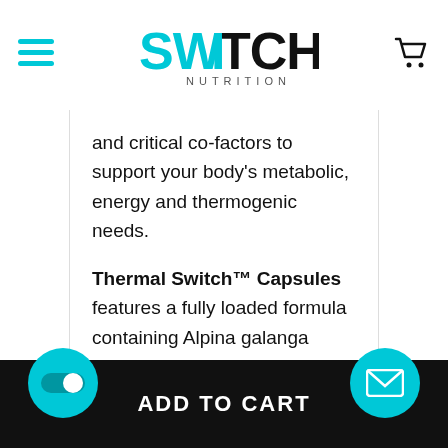SWITCH NUTRITION
and critical co-factors to support your body's metabolic, energy and thermogenic needs.
Thermal Switch™ Capsules features a fully loaded formula containing Alpina galanga (EnXtra®), Caffeine and Epigallocatechin Gallate (EGCG) from Green Tea...
ADD TO CART